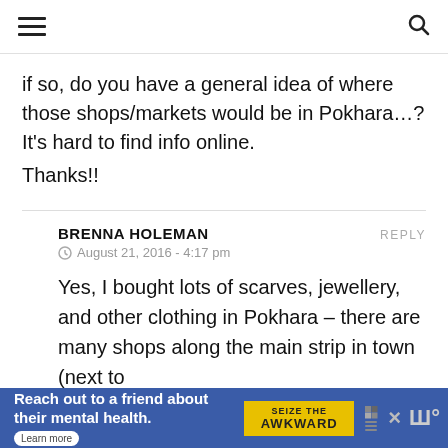☰  🔍
if so, do you have a general idea of where those shops/markets would be in Pokhara…? It's hard to find info online.
Thanks!!
BRENNA HOLEMAN
REPLY
August 21, 2016 - 4:17 pm
Yes, I bought lots of scarves, jewellery, and other clothing in Pokhara – there are many shops along the main strip in town (next to
[Figure (screenshot): Advertisement banner: 'Reach out to a friend about their mental health. Learn more' with Seize The Awkward branding on blue background]